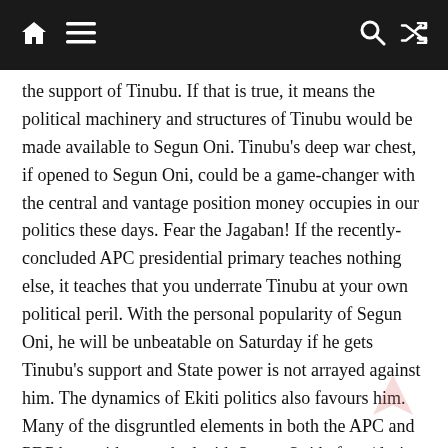[navigation bar with home, menu, search, and shuffle icons]
the support of Tinubu. If that is true, it means the political machinery and structures of Tinubu would be made available to Segun Oni. Tinubu's deep war chest, if opened to Segun Oni, could be a game-changer with the central and vantage position money occupies in our politics these days. Fear the Jagaban! If the recently-concluded APC presidential primary teaches nothing else, it teaches that you underrate Tinubu at your own political peril. With the personal popularity of Segun Oni, he will be unbeatable on Saturday if he gets Tinubu's support and State power is not arrayed against him. The dynamics of Ekiti politics also favours him. Many of the disgruntled elements in both the APC and PDP have either worked with Segun Oni before (during